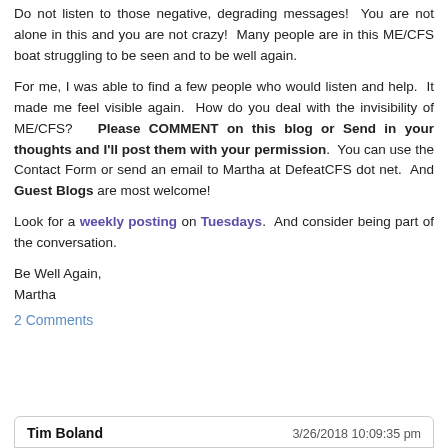Do not listen to those negative, degrading messages! You are not alone in this and you are not crazy! Many people are in this ME/CFS boat struggling to be seen and to be well again.
For me, I was able to find a few people who would listen and help. It made me feel visible again. How do you deal with the invisibility of ME/CFS? Please COMMENT on this blog or Send in your thoughts and I'll post them with your permission. You can use the Contact Form or send an email to Martha at DefeatCFS dot net. And Guest Blogs are most welcome!
Look for a weekly posting on Tuesdays. And consider being part of the conversation.
Be Well Again,
Martha
2 Comments
Tim Boland    3/26/2018 10:09:35 pm